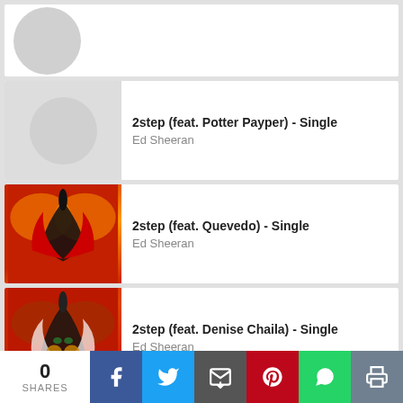2step (feat. Potter Payper) - Single
Ed Sheeran
2step (feat. Quevedo) - Single
Ed Sheeran
2step (feat. Denise Chaila) - Single
Ed Sheeran
2step (Star.One Remix) - Single
0 SHARES